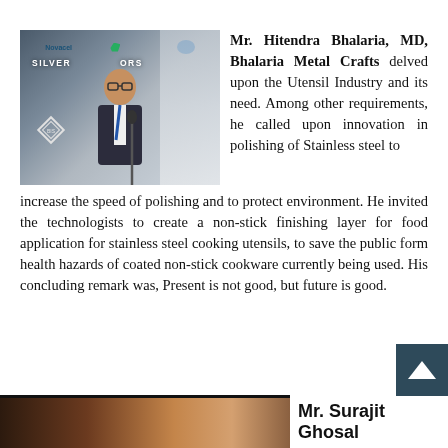[Figure (photo): Mr. Hitendra Bhalaria speaking at a conference, with Novacel and other sponsor banners visible in the background]
Mr. Hitendra Bhalaria, MD, Bhalaria Metal Crafts delved upon the Utensil Industry and its need. Among other requirements, he called upon innovation in polishing of Stainless steel to increase the speed of polishing and to protect environment. He invited the technologists to create a non-stick finishing layer for food application for stainless steel cooking utensils, to save the public form health hazards of coated non-stick cookware currently being used. His concluding remark was, Present is not good, but future is good.
[Figure (photo): Partial view of Mr. Surajit Ghosal at the bottom of the page]
Mr. Surajit Ghosal